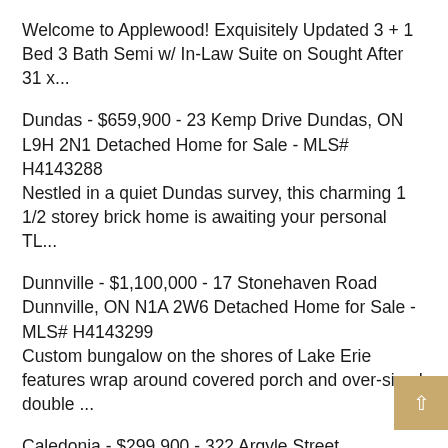Welcome to Applewood! Exquisitely Updated 3 + 1 Bed 3 Bath Semi w/ In-Law Suite on Sought After 31 x...
Dundas - $659,900 - 23 Kemp Drive Dundas, ON L9H 2N1 Detached Home for Sale - MLS# H4143288
Nestled in a quiet Dundas survey, this charming 1 1/2 storey brick home is awaiting your personal TL...
Dunnville - $1,100,000 - 17 Stonehaven Road Dunnville, ON N1A 2W6 Detached Home for Sale - MLS# H4143299
Custom bungalow on the shores of Lake Erie features wrap around covered porch and over-sized double ...
Caledonia - $299,900 - 322 Argyle Street Caledonia, ON N3W 2K2 Business for Sale - MLS# H4143315
Rare opportunity to own this turn key profitable business located in the heart of Caledonia. Conveni...